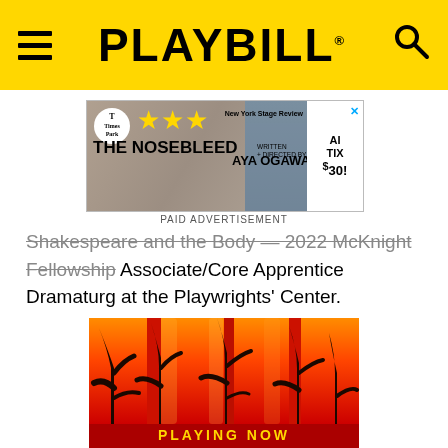PLAYBILL
[Figure (screenshot): Advertisement for 'The Nosebleed' by Aya Ogawa. Shows three yellow stars, New York Times logo, 'New York Stage Review' label, show title 'THE NOSEBLEED AYA OGAWA', people in background, and a CTA button 'AI TIX $30!']
PAID ADVERTISEMENT
Shakespeare and the Body — 2022 McKnight Fellowship Associate/Core Apprentice Dramaturg at the Playwrights' Center.
[Figure (illustration): Illustration of dark tree silhouettes against a red and orange gradient background, with 'PLAYING NOW' text in yellow at the bottom.]